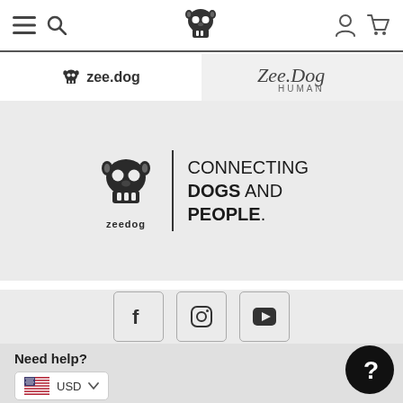[Figure (screenshot): Zee.dog website navigation bar with hamburger menu, search, skull logo, account and cart icons]
[Figure (screenshot): Tab bar with zee.dog (active, skull icon) and Zee.Dog Human tabs]
[Figure (logo): Zee.dog logo with skull mascot and tagline CONNECTING DOGS AND PEOPLE.]
[Figure (infographic): Social media icons: Facebook, Instagram, YouTube in bordered boxes]
Need help?
[Figure (infographic): USD currency selector with US flag and dropdown arrow]
[Figure (infographic): Black circular help/question mark button]